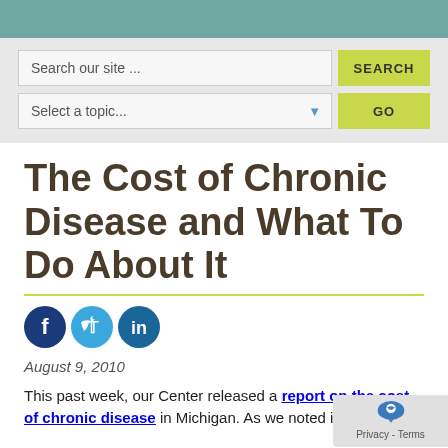[Figure (screenshot): Search bar with text 'Search our site ...' and yellow SEARCH button; dropdown 'Select a topic...' with yellow GO button]
The Cost of Chronic Disease and What To Do About It
[Figure (infographic): Social media share icons: Facebook (dark blue), Twitter (light blue), LinkedIn (dark teal)]
August 9, 2010
This past week, our Center released a report on the cost of chronic disease in Michigan. As we noted in that